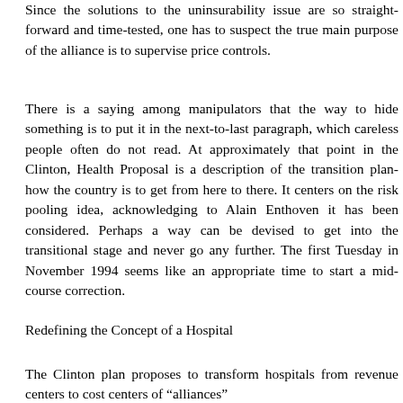Since the solutions to the uninsurability issue are so straight-forward and time-tested, one has to suspect the true main purpose of the alliance is to supervise price controls.
There is a saying among manipulators that the way to hide something is to put it in the next-to-last paragraph, which careless people often do not read. At approximately that point in the Clinton, Health Proposal is a description of the transition plan-how the country is to get from here to there. It centers on the risk pooling idea, acknowledging to Alain Enthoven it has been considered. Perhaps a way can be devised to get into the transitional stage and never go any further. The first Tuesday in November 1994 seems like an appropriate time to start a mid-course correction.
Redefining the Concept of a Hospital
The Clinton plan proposes to transform hospitals from revenue centers to cost centers of â€œalliancesâ€�